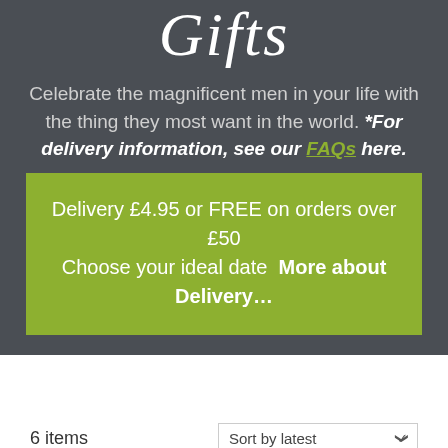Gifts
Celebrate the magnificent men in your life with the thing they most want in the world. *For delivery information, see our FAQs here.
Delivery £4.95 or FREE on orders over £50 Choose your ideal date More about Delivery...
6 items
Sort by latest